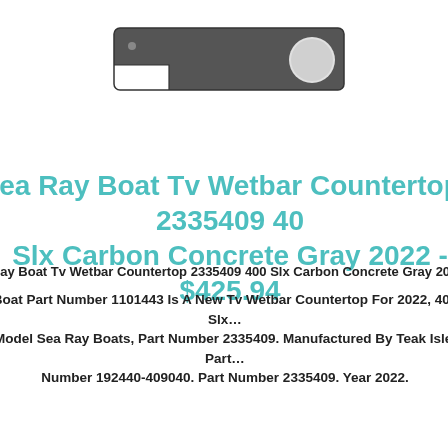[Figure (photo): A flat dark gray boat TV wetbar countertop piece with a rectangular shape, small hole on the left end, and a large circular cutout on the right end.]
Sea Ray Boat Tv Wetbar Countertop 2335409 400 Slx Carbon Concrete Gray 2022 - $425.94
Sea Ray Boat Tv Wetbar Countertop 2335409 400 Slx Carbon Concrete Gray 2022
Boat Part Number 1101443 Is A New Tv Wetbar Countertop For 2022, 400 Slx Model Sea Ray Boats, Part Number 2335409. Manufactured By Teak Isle, Part Number 192440-409040. Part Number 2335409. Year 2022.